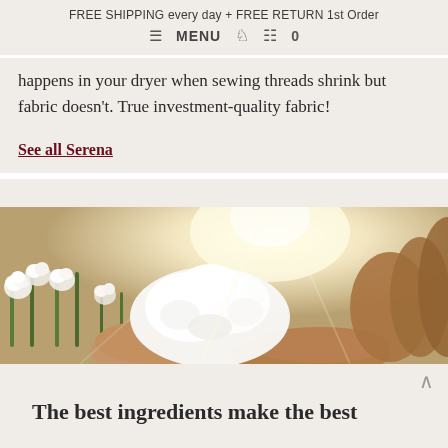FREE SHIPPING every day + FREE RETURN 1st Order
≡ MENU  👤  🛒 0
happens in your dryer when sewing threads shrink but fabric doesn't. True investment-quality fabric!
See all Serena
[Figure (photo): Close-up photo of a person holding fluffy raw cotton bolls in their hands, with a cotton field with blooming cotton plants in the background, backlit by bright sunlight.]
The best ingredients make the best